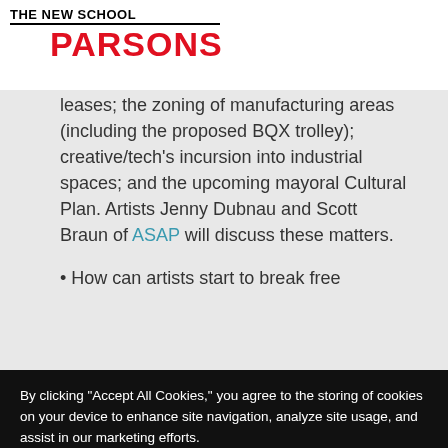THE NEW SCHOOL PARSONS
leases; the zoning of manufacturing areas (including the proposed BQX trolley); creative/tech's incursion into industrial spaces; and the upcoming mayoral Cultural Plan. Artists Jenny Dubnau and Scott Braun of ASAP will discuss these matters.
• How can artists start to break free
By clicking “Accept All Cookies,” you agree to the storing of cookies on your device to enhance site navigation, analyze site usage, and assist in our marketing efforts.
Cookie Statement
Customize Settings
Accept All Cookies